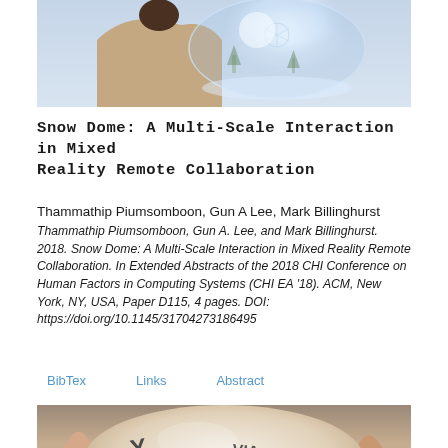[Figure (photo): A person seen from behind wearing a beige/tan coat, with a glowing mixed reality snow dome visualization visible in front of them against a light blue background.]
Snow Dome: A Multi-Scale Interaction in Mixed Reality Remote Collaboration
Thammathip Piumsomboon, Gun A Lee, Mark Billinghurst
Thammathip Piumsomboon, Gun A. Lee, and Mark Billinghurst. 2018. Snow Dome: A Multi-Scale Interaction in Mixed Reality Remote Collaboration. In Extended Abstracts of the 2018 CHI Conference on Human Factors in Computing Systems (CHI EA '18). ACM, New York, NY, USA, Paper D115, 4 pages. DOI: https://doi.org/10.1145/31704273186495
BibTex
Links
Abstract
[Figure (photo): Close-up of a physical snow dome / glass globe being held, with letters 'Y', 'VIA' visible on what appears to be a label or surface.]